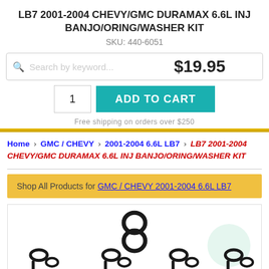LB7 2001-2004 CHEVY/GMC DURAMAX 6.6L INJ BANJO/ORING/WASHER KIT
SKU: 440-6051
$19.95
1  ADD TO CART
Free shipping on orders over $250
Home › GMC / CHEVY › 2001-2004 6.6L LB7 › LB7 2001-2004 CHEVY/GMC DURAMAX 6.6L INJ BANJO/ORING/WASHER KIT
Shop All Products for GMC / CHEVY 2001-2004 6.6L LB7
[Figure (photo): Product photo showing banjo bolts, o-rings and washers for LB7 Duramax injectors]